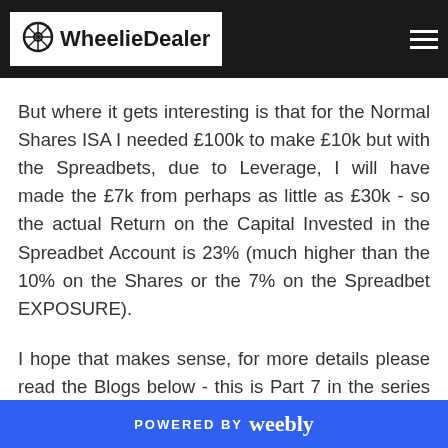WheelieDealer
But where it gets interesting is that for the Normal Shares ISA I needed £100k to make £10k but with the Spreadbets, due to Leverage, I will have made the £7k from perhaps as little as £30k - so the actual Return on the Capital Invested in the Spreadbet Account is 23% (much higher than the 10% on the Shares or the 7% on the Spreadbet EXPOSURE).
I hope that makes sense, for more details please read the Blogs below - this is Part 7 in the series but if you scroll to the bottom of it there are links
POWERED BY weebly